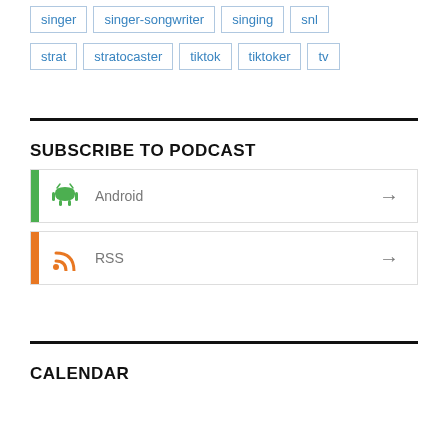singer
singer-songwriter
singing
snl
strat
stratocaster
tiktok
tiktoker
tv
SUBSCRIBE TO PODCAST
Android
RSS
CALENDAR